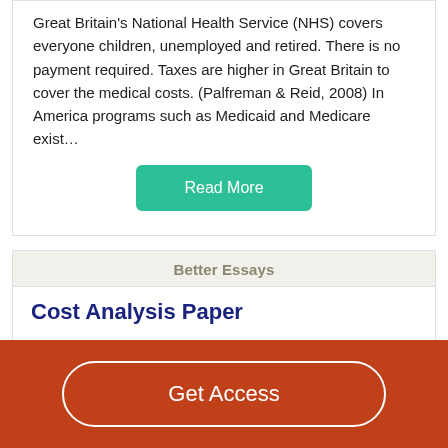Great Britain's National Health Service (NHS) covers everyone children, unemployed and retired. There is no payment required. Taxes are higher in Great Britain to cover the medical costs. (Palfreman & Reid, 2008) In America programs such as Medicaid and Medicare exist…
Read More
Better Essays
Cost Analysis Paper
1150 Words
5 Pages
Get Access